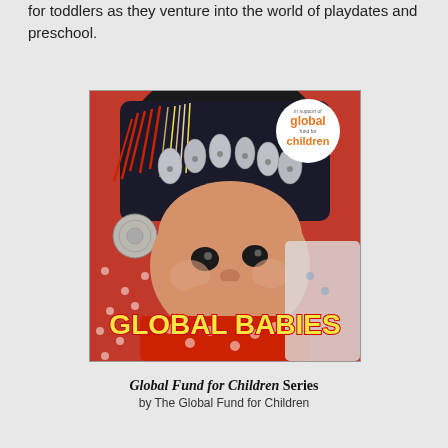for toddlers as they venture into the world of playdates and preschool.
[Figure (photo): Book cover of 'Global Babies' published in support of Global Fund for Children. Cover shows a baby wearing a traditional ornate black headdress with silver decorations and red tassels, set against a red background. The title 'GLOBAL BABIES' is shown in large yellow letters at the bottom.]
Global Fund for Children Series by The Global Fund for Children